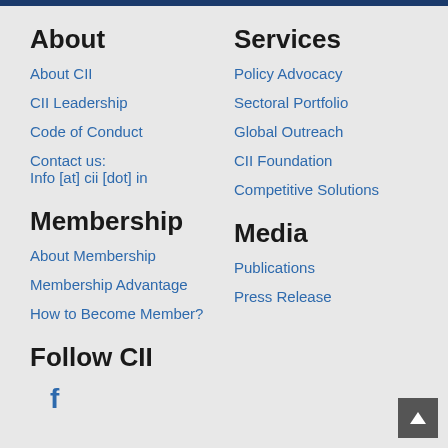About
About CII
CII Leadership
Code of Conduct
Contact us:
Info [at] cii [dot] in
Services
Policy Advocacy
Sectoral Portfolio
Global Outreach
CII Foundation
Competitive Solutions
Membership
About Membership
Membership Advantage
How to Become Member?
Media
Publications
Press Release
Follow CII
[Figure (logo): Facebook icon - letter f in blue]